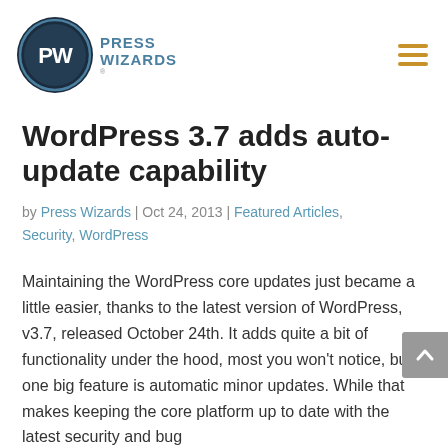[Figure (logo): Press Wizards logo: circular icon with PW letters and 'PRESS WIZARDS' text beside it]
[Figure (other): Hamburger menu icon with three horizontal orange lines, top right corner]
WordPress 3.7 adds auto-update capability
by Press Wizards | Oct 24, 2013 | Featured Articles, Security, WordPress
Maintaining the WordPress core updates just became a little easier, thanks to the latest version of WordPress, v3.7, released October 24th. It adds quite a bit of functionality under the hood, most you won't notice, but one big feature is automatic minor updates. While that makes keeping the core platform up to date with the latest security and bug